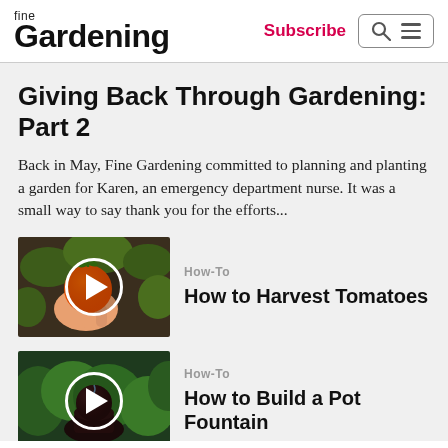fine Gardening | Subscribe
Giving Back Through Gardening: Part 2
Back in May, Fine Gardening committed to planning and planting a garden for Karen, an emergency department nurse. It was a small way to say thank you for the efforts...
[Figure (photo): Thumbnail of a hand holding an orange/red tomato with a play button overlay]
How-To
How to Harvest Tomatoes
[Figure (photo): Thumbnail of a garden water fountain with a play button overlay]
How-To
How to Build a Pot Fountain